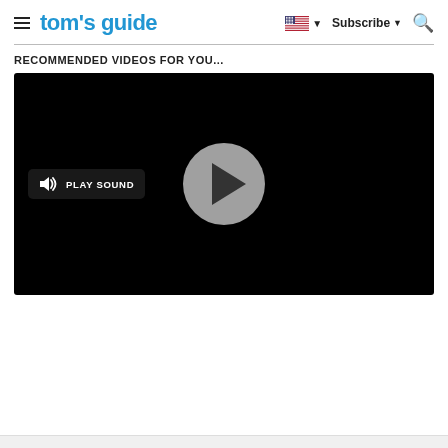tom's guide — Subscribe — Search
RECOMMENDED VIDEOS FOR YOU...
[Figure (screenshot): Video player with black background, a circular grey play button in the center, and a 'PLAY SOUND' button with speaker icon on the left side.]